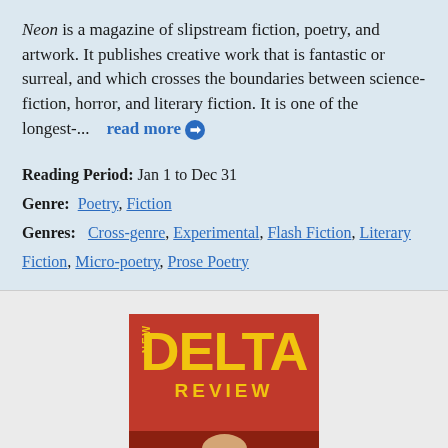Neon is a magazine of slipstream fiction, poetry, and artwork. It publishes creative work that is fantastic or surreal, and which crosses the boundaries between science-fiction, horror, and literary fiction. It is one of the longest-...   read more →
Reading Period: Jan 1 to Dec 31
Genre: Poetry, Fiction
Genres: Cross-genre, Experimental, Flash Fiction, Literary Fiction, Micro-poetry, Prose Poetry
[Figure (illustration): Cover of New Delta Review magazine — red background with large yellow text 'DELTA' and 'REVIEW', with 'NEW' written vertically on the left side, and a partial face/figure visible at the bottom.]